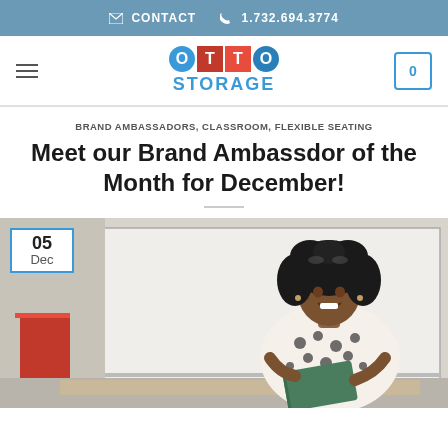CONTACT  1.732.694.3774
[Figure (logo): OTTO STORAGE logo with colored letter blocks and blue STORAGE text]
BRAND AMBASSADORS, CLASSROOM, FLEXIBLE SEATING
Meet our Brand Ambassdor of the Month for December!
[Figure (photo): A woman with curly hair wearing a white polka dot top sitting on a desk in a classroom, holding a book and smiling. A date badge in the upper left shows 05 Dec.]